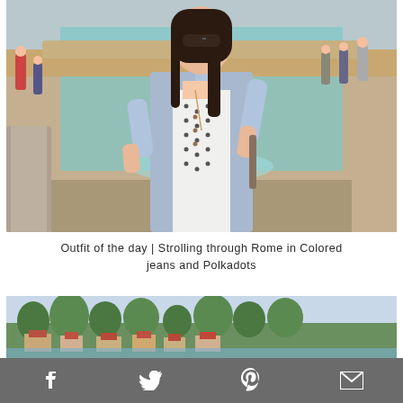[Figure (photo): Woman with dark hair and sunglasses wearing a white polka dot dress and denim jacket, standing in front of an ornate stone fountain with turquoise water]
Outfit of the day | Strolling through Rome in Colored jeans and Polkadots
[Figure (photo): Aerial/elevated view of a European hillside town with green trees and red-roofed buildings, with a share/forward icon overlay in top right]
Social sharing icons: Facebook, Twitter, Pinterest, Email